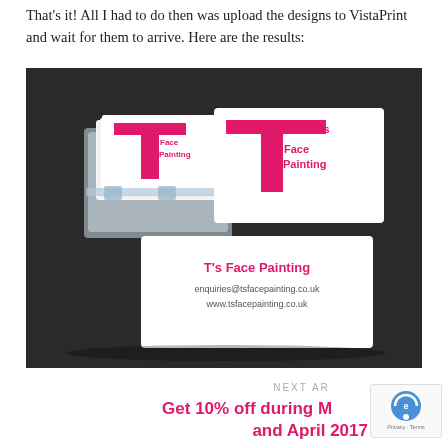That's it! All I had to do then was upload the designs to VistaPrint and wait for them to arrive. Here are the results:
[Figure (photo): Photo of T's Face Painting business cards displayed in a clear acrylic card holder on a dark surface. One card faces front showing 'T's Face Painting' logo in pink, another shows the back with 'T's Face Painting', 'enquiries@tsfacepainting.co.uk', 'www.tsfacepainting.co.uk'.]
NEXT ARTICLE
Get 10% off during M... and April 2017